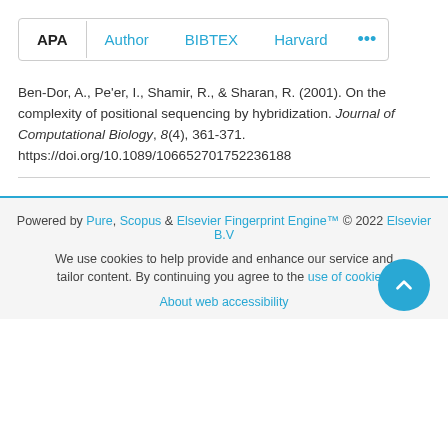APA  Author  BIBTEX  Harvard  ...
Ben-Dor, A., Pe'er, I., Shamir, R., & Sharan, R. (2001). On the complexity of positional sequencing by hybridization. Journal of Computational Biology, 8(4), 361-371. https://doi.org/10.1089/106652701752236188
Powered by Pure, Scopus & Elsevier Fingerprint Engine™ © 2022 Elsevier B.V  We use cookies to help provide and enhance our service and tailor content. By continuing you agree to the use of cookies  About web accessibility